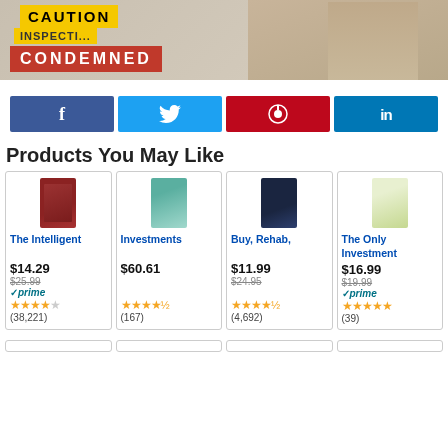[Figure (photo): Photo of a man with clasped hands behind yellow CAUTION/INSPECTION and red CONDEMNED signs]
[Figure (infographic): Social sharing buttons: Facebook (f), Twitter bird icon, Pinterest (p), LinkedIn (in)]
Products You May Like
[Figure (illustration): Book cover: The Intelligent (Investor)]
The Intelligent
$14.29
$25.99
✓prime
★★★★☆
(38,221)
[Figure (illustration): Book cover: Investments]
Investments
$60.61
★★★★½
(167)
[Figure (illustration): Book cover: Buy, Rehab,]
Buy, Rehab,
$11.99
$24.95
★★★★½
(4,692)
[Figure (illustration): Book cover: The Only Investment]
The Only Investment
$16.99
$19.99
✓prime
★★★★★
(39)